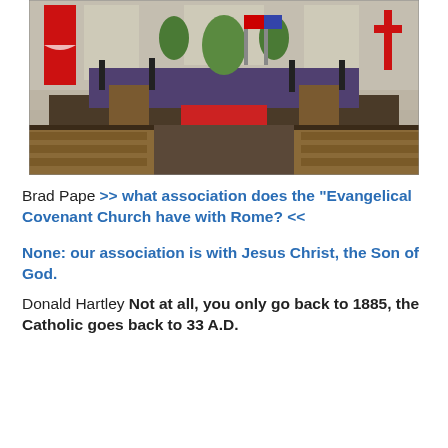[Figure (photo): Interior of an Evangelical Covenant Church sanctuary showing pews, a stage with choir chairs, a red altar/communion table in the center, a red banner on the left, windows in the background, and flags on the stage.]
Brad Pape >> what association does the "Evangelical Covenant Church have with Rome? <<
None: our association is with Jesus Christ, the Son of God.
Donald Hartley Not at all, you only go back to 1885, the Catholic goes back to 33 A.D.